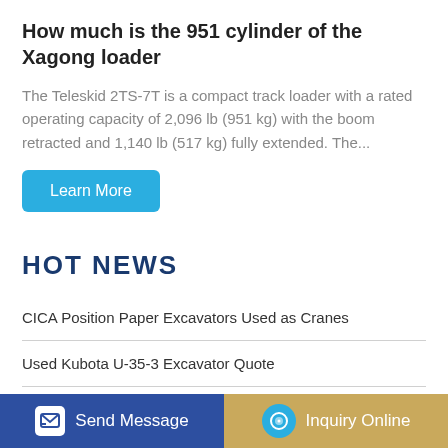How much is the 951 cylinder of the Xagong loader
The Teleskid 2TS-7T is a compact track loader with a rated operating capacity of 2,096 lb (951 kg) with the boom retracted and 1,140 lb (517 kg) fully extended. The...
Learn More
HOT NEWS
CICA Position Paper Excavators Used as Cranes
Used Kubota U-35-3 Excavator Quote
Quarkus 1.3.0 Final released - New class loader
Xinlong Wheel Excavator
Send Message | Inquiry Online